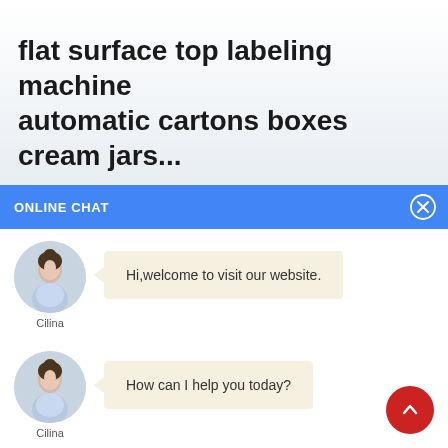flat surface top labeling machine automatic cartons boxes cream jars...
ONLINE CHAT
Hi,welcome to visit our website.
Cilina
How can I help you today?
Cilina